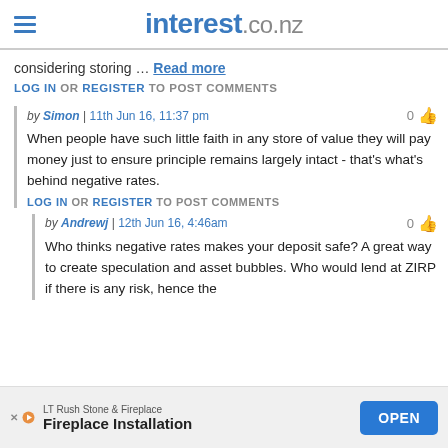interest.co.nz
considering storing … Read more
LOG IN OR REGISTER TO POST COMMENTS
by Simon | 11th Jun 16, 11:37 pm
When people have such little faith in any store of value they will pay money just to ensure principle remains largely intact - that's what's behind negative rates.
LOG IN OR REGISTER TO POST COMMENTS
by Andrewj | 12th Jun 16, 4:46am
Who thinks negative rates makes your deposit safe? A great way to create speculation and asset bubbles. Who would lend at ZIRP if there is any risk, hence the
LT Rush Stone & Fireplace Fireplace Installation OPEN